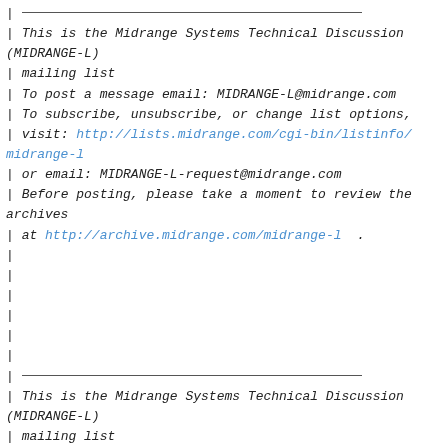| ___________________________________________
| This is the Midrange Systems Technical Discussion (MIDRANGE-L)
| mailing list
| To post a message email: MIDRANGE-L@midrange.com
| To subscribe, unsubscribe, or change list options,
| visit: http://lists.midrange.com/cgi-bin/listinfo/midrange-l
| or email: MIDRANGE-L-request@midrange.com
| Before posting, please take a moment to review the archives
| at http://archive.midrange.com/midrange-l .
|
|
|
|
|
|
| ___________________________________________
| This is the Midrange Systems Technical Discussion (MIDRANGE-L)
| mailing list
| To post a message email: MIDRANGE-L@midrange.c
| To subscribe, unsubscribe, or change list options,
| visit: http://lists.midrange.com/cgi-bin/listinfo/